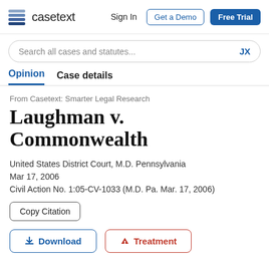casetext  Sign In  Get a Demo  Free Trial
Search all cases and statutes...
Opinion  Case details
From Casetext: Smarter Legal Research
Laughman v. Commonwealth
United States District Court, M.D. Pennsylvania
Mar 17, 2006
Civil Action No. 1:05-CV-1033 (M.D. Pa. Mar. 17, 2006)
Copy Citation
Download  Treatment